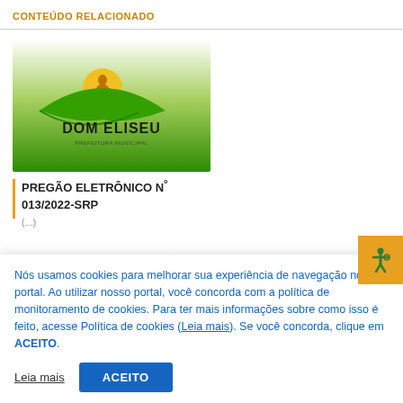CONTEÚDO RELACIONADO
[Figure (logo): Dom Eliseu municipality logo with green swoosh and yellow sun motif]
PREGÃO ELETRÔNICO Nº 013/2022-SRP
Nós usamos cookies para melhorar sua experiência de navegação no portal. Ao utilizar nosso portal, você concorda com a política de monitoramento de cookies. Para ter mais informações sobre como isso é feito, acesse Política de cookies (Leia mais). Se você concorda, clique em ACEITO.
Leia mais
ACEITO